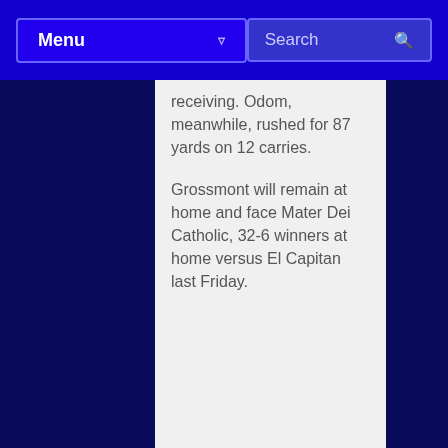Menu  Search
receiving. Odom, meanwhile, rushed for 87 yards on 12 carries.
Grossmont will remain at home and face Mater Dei Catholic, 32-6 winners at home versus El Capitan last Friday.